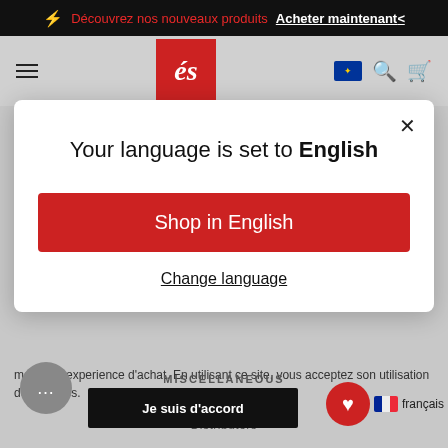⚡ Découvrez nos nouveaux produits  Acheter maintenant
[Figure (screenshot): Website navigation bar with hamburger menu, red brand logo (és), EU flag, search and cart icons on grey background]
Your language is set to English
Shop in English
Change language
meilleure experience d'achat. En utilisant ce site, vous acceptez son utilisation des cookies.
MISCELLANEOUS
About Us
Distributors
Je suis d'accord
français